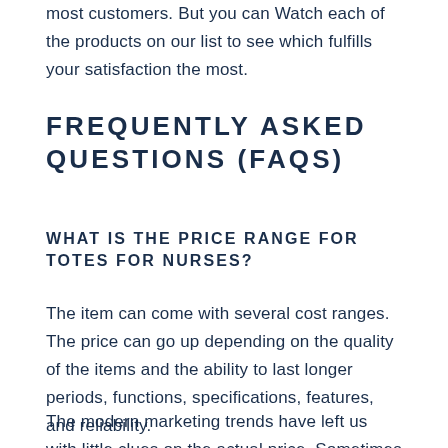most customers. But you can Watch each of the products on our list to see which fulfills your satisfaction the most.
FREQUENTLY ASKED QUESTIONS (FAQS)
WHAT IS THE PRICE RANGE FOR TOTES FOR NURSES?
The item can come with several cost ranges. The price can go up depending on the quality of the items and the ability to last longer periods, functions, specifications, features, and reliability.
The modern marketing trends have left us with little clues on the actual price. Sometimes a product